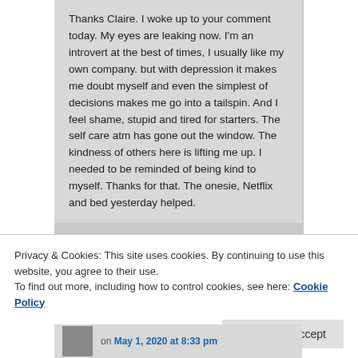Thanks Claire. I woke up to your comment today. My eyes are leaking now. I'm an introvert at the best of times, I usually like my own company. but with depression it makes me doubt myself and even the simplest of decisions makes me go into a tailspin. And I feel shame, stupid and tired for starters. The self care atm has gone out the window. The kindness of others here is lifting me up. I needed to be reminded of being kind to myself. Thanks for that. The onesie, Netflix and bed yesterday helped.
Privacy & Cookies: This site uses cookies. By continuing to use this website, you agree to their use.
To find out more, including how to control cookies, see here: Cookie Policy
Close and accept
on May 1, 2020 at 8:33 pm